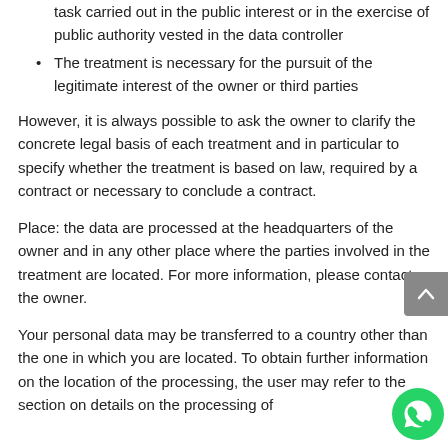task carried out in the public interest or in the exercise of public authority vested in the data controller
The treatment is necessary for the pursuit of the legitimate interest of the owner or third parties
However, it is always possible to ask the owner to clarify the concrete legal basis of each treatment and in particular to specify whether the treatment is based on law, required by a contract or necessary to conclude a contract.
Place: the data are processed at the headquarters of the owner and in any other place where the parties involved in the treatment are located. For more information, please contact the owner.
Your personal data may be transferred to a country other than the one in which you are located. To obtain further information on the location of the processing, the user may refer to the section on details on the processing of